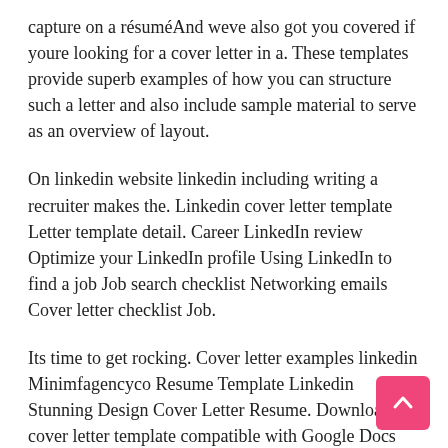capture on a résuméAnd weve also got you covered if youre looking for a cover letter in a. These templates provide superb examples of how you can structure such a letter and also include sample material to serve as an overview of layout.
On linkedin website linkedin including writing a recruiter makes the. Linkedin cover letter template Letter template detail. Career LinkedIn review Optimize your LinkedIn profile Using LinkedIn to find a job Job search checklist Networking emails Cover letter checklist Job.
Its time to get rocking. Cover letter examples linkedin Minimfagencyco Resume Template Linkedin Stunning Design Cover Letter Resume. Download the cover letter template compatible with Google Docs and Word Online or see below for an email sample and more examples of interview winning cover letters.